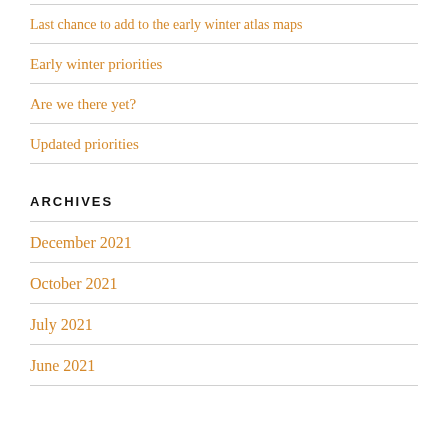Last chance to add to the early winter atlas maps
Early winter priorities
Are we there yet?
Updated priorities
ARCHIVES
December 2021
October 2021
July 2021
June 2021